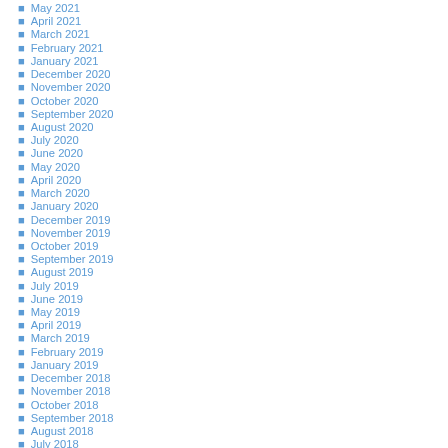May 2021
April 2021
March 2021
February 2021
January 2021
December 2020
November 2020
October 2020
September 2020
August 2020
July 2020
June 2020
May 2020
April 2020
March 2020
January 2020
December 2019
November 2019
October 2019
September 2019
August 2019
July 2019
June 2019
May 2019
April 2019
March 2019
February 2019
January 2019
December 2018
November 2018
October 2018
September 2018
August 2018
July 2018
June 2018
May 2018
April 2018
March 2018
February 2018
January 2018
December 2017